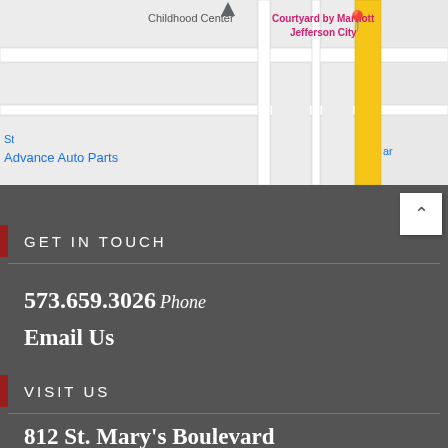[Figure (map): Google Maps screenshot showing area near Advance Auto Parts and Courtyard by Marriott Jefferson City, with roads and a highway visible]
GET IN TOUCH
573.659.3026 Phone
Email Us
VISIT US
812 St. Mary's Boulevard Jefferson City, MO 65109